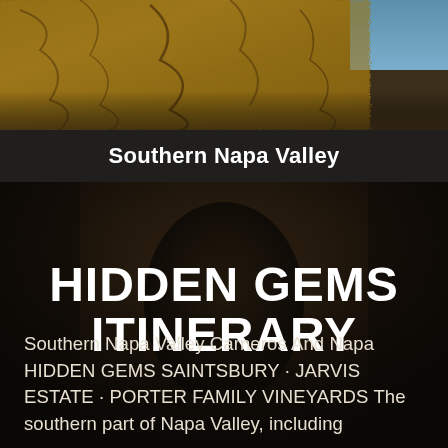[Figure (photo): Golden brown tree bark or rock texture photo at the top of the page, partially cropped]
Southern Napa Valley
[Figure (photo): Dark moody photo of a wine cave or barrel cellar with shadowy figure, forming the background of the lower portion of the page]
HIDDEN GEMS ITINERARY
Southern Napa Valley Carneros And Napa HIDDEN GEMS SAINTSBURY · JARVIS ESTATE · PORTER FAMILY VINEYARDS The southern part of Napa Valley, including